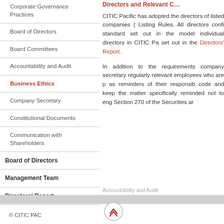Corporate Governance Practices
Board of Directors
Board Committees
Accountability and Audit
Business Ethics
Company Secretary
Constitutional Documents
Communication with Shareholders
Board of Directors
Management Team
Directors' Report
Directors and Relevant C…
CITIC Pacific has adopted the directors of listed companies ( Listing Rules. All directors confi standard set out in the model individual directors in CITIC Pa set out in the Directors' Report.
In addition to the requirements company secretary regularly relevant employees who are p as reminders of their responsib code and keep the matter specifically reminded not to eng Section 270 of the Securities ar
Accountability and Audit
© CITIC PACIFIC